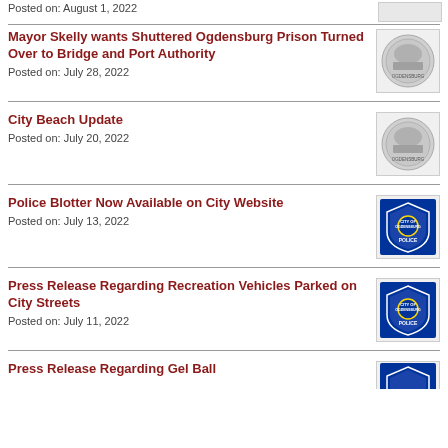Posted on: August 1, 2022
Mayor Skelly wants Shuttered Ogdensburg Prison Turned Over to Bridge and Port Authority
Posted on: July 28, 2022
[Figure (logo): City of Ogdensburg seal/coin logo]
City Beach Update
Posted on: July 20, 2022
[Figure (logo): City of Ogdensburg seal/coin logo]
Police Blotter Now Available on City Website
Posted on: July 13, 2022
[Figure (logo): City of Ogdensburg Police badge logo]
Press Release Regarding Recreation Vehicles Parked on City Streets
Posted on: July 11, 2022
[Figure (logo): City of Ogdensburg Police badge logo]
Press Release Regarding Gel Ball